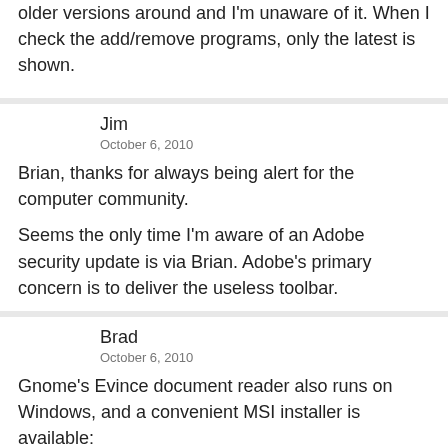older versions around and I'm unaware of it. When I check the add/remove programs, only the latest is shown.
Jim
October 6, 2010
Brian, thanks for always being alert for the computer community.
Seems the only time I'm aware of an Adobe security update is via Brian. Adobe's primary concern is to deliver the useless toolbar.
Brad
October 6, 2010
Gnome's Evince document reader also runs on Windows, and a convenient MSI installer is available:
http://live.gnome.org/Evince/Downloads
I run Evince instead of Reader wherever possible. It has (very likely at 30mb installer...